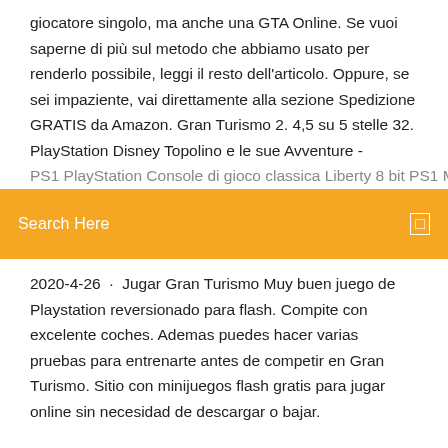giocatore singolo, ma anche una GTA Online. Se vuoi saperne di più sul metodo che abbiamo usato per renderlo possibile, leggi il resto dell'articolo. Oppure, se sei impaziente, vai direttamente alla sezione Spedizione GRATIS da Amazon. Gran Turismo 2. 4,5 su 5 stelle 32. PlayStation Disney Topolino e le sue Avventure - PS1 PlayStation Console di gioco classica Liberty 8 bit PS1 Mini
[Figure (screenshot): Orange search bar with 'Search Here' label in white text and a small square icon on the right]
2020-4-26 · Jugar Gran Turismo Muy buen juego de Playstation reversionado para flash. Compite con excelente coches. Ademas puedes hacer varias pruebas para entrenarte antes de competir en Gran Turismo. Sitio con minijuegos flash gratis para jugar online sin necesidad de descargar o bajar.
Nel 1997, Gran Turismo (GT) ha presentato al mondo la capacità di ricreare realisticamente di auto in 3DCG e permettono ai giocatori di sperimentare virtualmente sulle loro console domestiche. Da allora, la serie GT ha